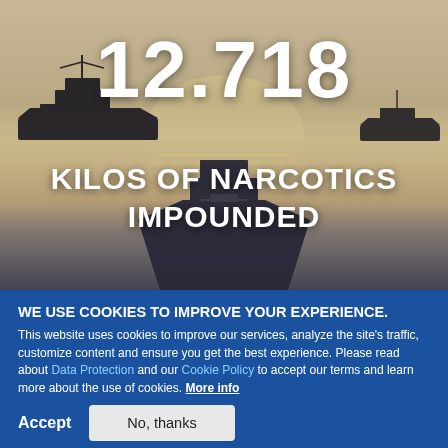[Figure (photo): Naval vessels at sea with sunlit water in background, silhouetted ships on the water]
12.718
KILOS OF NARCOTICS IMPOUNDED
WE USE COOKIES TO IMPROVE YOUR EXPERIENCE.
This website uses cookies to improve our services, analyze the site's traffic, customize content and ensure you get the best experience. Please read about Data Protection and our Cookie Policy to accept our terms and learn more about the use of cookies. More info
Accept
No, thanks